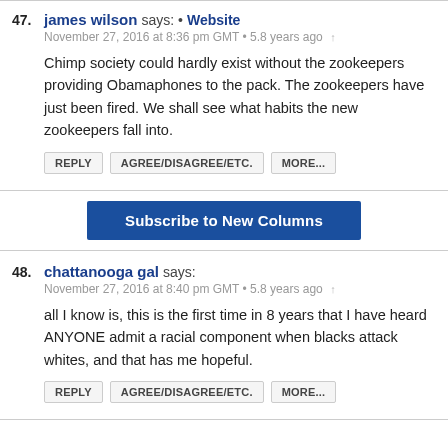47. james wilson says: • Website
November 27, 2016 at 8:36 pm GMT • 5.8 years ago ↑

Chimp society could hardly exist without the zookeepers providing Obamaphones to the pack. The zookeepers have just been fired. We shall see what habits the new zookeepers fall into.

REPLY | AGREE/DISAGREE/ETC. | MORE...
Subscribe to New Columns
48. chattanooga gal says:
November 27, 2016 at 8:40 pm GMT • 5.8 years ago ↑

all I know is, this is the first time in 8 years that I have heard ANYONE admit a racial component when blacks attack whites, and that has me hopeful.

REPLY | AGREE/DISAGREE/ETC. | MORE...